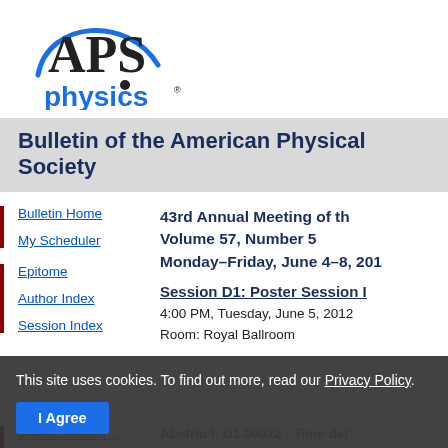[Figure (logo): APS Physics logo — blue arc with APS text and 'physics' below in blue]
Bulletin of the American Physical Society
Bulletin Home
My Scheduler
43rd Annual Meeting of th...
Volume 57, Number 5
Monday–Friday, June 4–8, 201...
Epitome
Author Index
Session Index
Session D1: Poster Session I...
4:00 PM, Tuesday, June 5, 2012
Room: Royal Ballroom
This site uses cookies. To find out more, read our Privacy Policy.
I Agree
Abstract: D1.00022 : Time del...
Preview Abstract